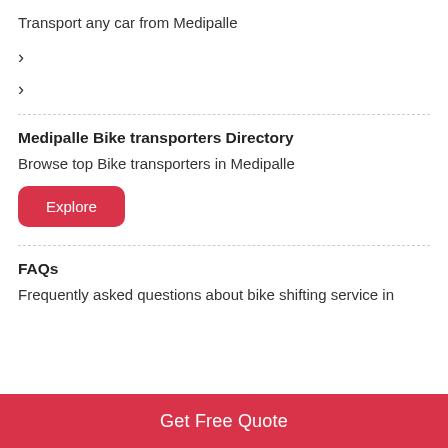Transport any car from Medipalle
>
>
Medipalle Bike transporters Directory
Browse top Bike transporters in Medipalle
Explore
FAQs
Frequently asked questions about bike shifting service in
Get Free Quote